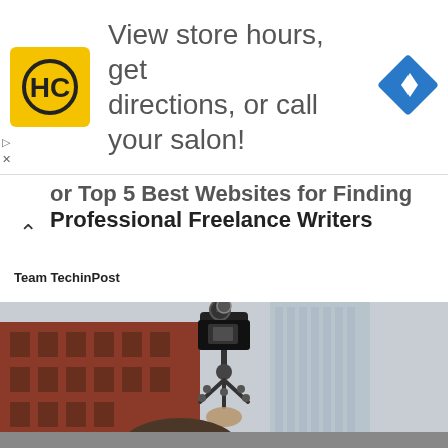[Figure (screenshot): Advertisement banner with HC (Hair Club) yellow logo, text 'View store hours, get directions, or call your salon!' and a blue navigation diamond icon on the right]
or Top 5 Best Websites for Finding Professional Freelance Writers
Team TechinPost
[Figure (photo): Person holding a camera on a tripod (gorilla pod style) above their head on an urban street, with red brick buildings and a tall glass skyscraper in the background, overcast sky]